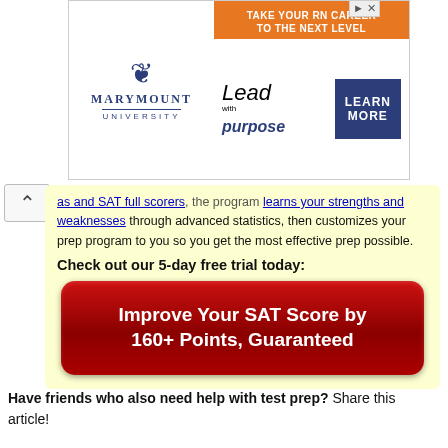[Figure (screenshot): Advertisement for Marymount University nursing program with orange and navy blue design. Text reads 'TAKE YOUR RN CAREER TO THE NEXT LEVEL', 'Lead with purpose', 'LEARN MORE'.]
...and SAT full scorers, the program learns your strengths and weaknesses through advanced statistics, then customizes your prep program to you so you get the most effective prep possible.
Check out our 5-day free trial today:
[Figure (other): Red button with white bold text: 'Improve Your SAT Score by 160+ Points, Guaranteed']
Have friends who also need help with test prep? Share this article!